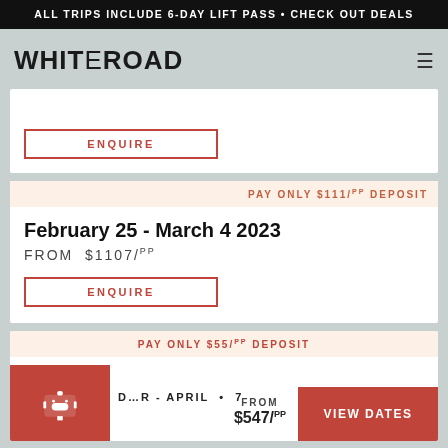ALL TRIPS INCLUDE 6-DAY LIFT PASS · CHECK OUT DEALS
WHITEROAD
ENQUIRE
PAY ONLY $111/pp DEPOSIT
February 25 - March 4 2023
FROM $1107/pp
ENQUIRE
PAY ONLY $55/pp DEPOSIT
DECEMBER - APRIL · 7
FROM $547/pp
VIEW DATES